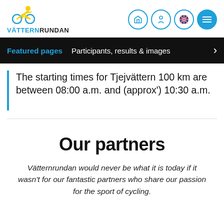[Figure (logo): Vätternrundan logo with cyclist icon and brand name]
Featured pages   Participants, results & images
The starting times for Tjejvättern 100 km are between 08:00 a.m. and (approx') 10:30 a.m.
Our partners
Vätternrundan would never be what it is today if it wasn't for our fantastic partners who share our passion for the sport of cycling.